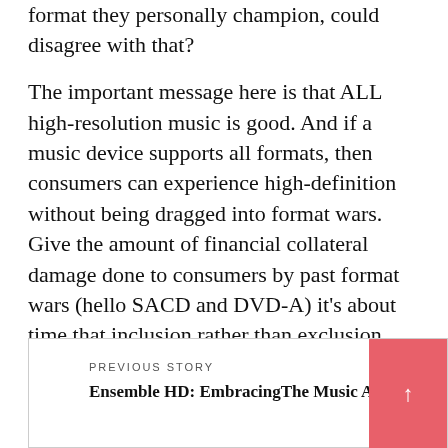format they personally champion, could disagree with that?
The important message here is that ALL high-resolution music is good. And if a music device supports all formats, then consumers can experience high-definition without being dragged into format wars. Give the amount of financial collateral damage done to consumers by past format wars (hello SACD and DVD-A) it’s about time that inclusion rather than exclusion becomes part of the audio value equation.
PREVIOUS STORY
Ensemble HD: EmbracingThe Music As It